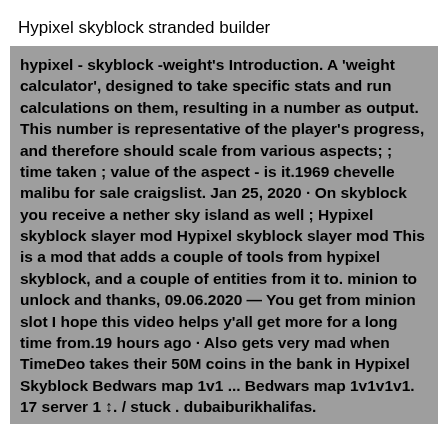Hypixel skyblock stranded builder
hypixel - skyblock -weight's Introduction. A 'weight calculator', designed to take specific stats and run calculations on them, resulting in a number as output. This number is representative of the player's progress, and therefore should scale from various aspects; ; time taken ; value of the aspect - is it.1969 chevelle malibu for sale craigslist. Jan 25, 2020 · On skyblock you receive a nether sky island as well ; Hypixel skyblock slayer mod Hypixel skyblock slayer mod This is a mod that adds a couple of tools from hypixel skyblock, and a couple of entities from it to. minion to unlock and thanks, 09.06.2020 — You get from minion slot I hope this video helps y'all get more for a long time from.19 hours ago · Also gets very mad when TimeDeo takes their 50M coins in the bank in Hypixel Skyblock Bedwars map 1v1 ... Bedwars map 1v1v1v1. 17 server 1 ↕. / stuck . dubaiburikhalifas.